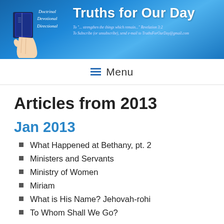Doctrinal Devotional Directional — Truths for Our Day — To "... strengthen the things which remain..." Revelation 3:2 — To Subscribe (or unsubscribe), send e-mail to TruthsForOurDay@gmail.com
≡ Menu
Articles from 2013
Jan 2013
What Happened at Bethany, pt. 2
Ministers and Servants
Ministry of Women
Miriam
What is His Name? Jehovah-rohi
To Whom Shall We Go?